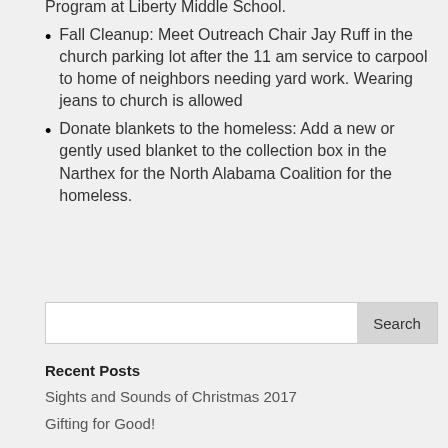Fall Cleanup:  Meet Outreach Chair Jay Ruff in the church parking lot  after the 11 am service to carpool to home of neighbors needing yard work.  Wearing jeans to church is allowed
Donate blankets to the homeless:  Add a new or gently used blanket to the collection box in the Narthex for the North Alabama Coalition for the homeless.
Search
Recent Posts
Sights and Sounds of Christmas 2017
Gifting for Good!